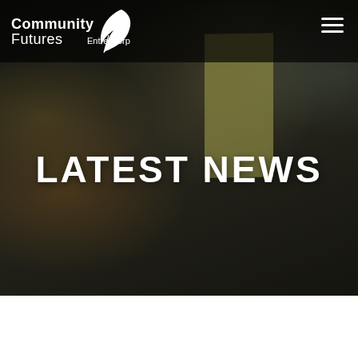[Figure (logo): Community Futures Entre-Corp logo with feather/quill icon in white]
LATEST NEWS
[Figure (photo): Background photo of a person with sticky notes on glass, dark toned]